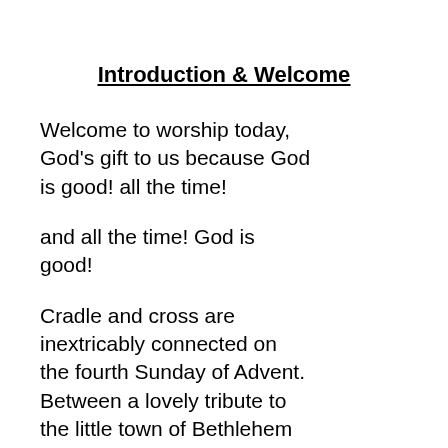Introduction & Welcome
Welcome to worship today, God's gift to us because God is good! all the time!
and all the time! God is good!
Cradle and cross are inextricably connected on the fourth Sunday of Advent. Between a lovely tribute to the little town of Bethlehem